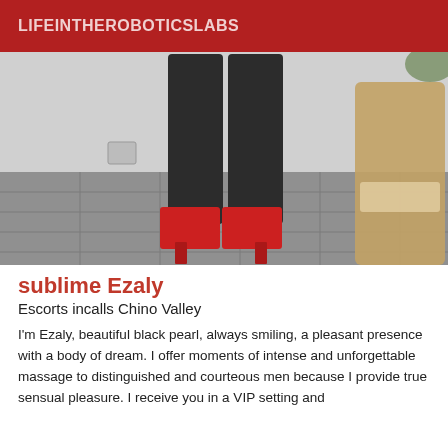LIFEINTHEROBOTICSLABS
[Figure (photo): Photo of lower body of a person wearing dark leggings and red high-heeled sandals, standing on a grey tiled floor next to a wicker chair]
sublime Ezaly
Escorts incalls Chino Valley
I'm Ezaly, beautiful black pearl, always smiling, a pleasant presence with a body of dream. I offer moments of intense and unforgettable massage to distinguished and courteous men because I provide true sensual pleasure. I receive you in a VIP setting and